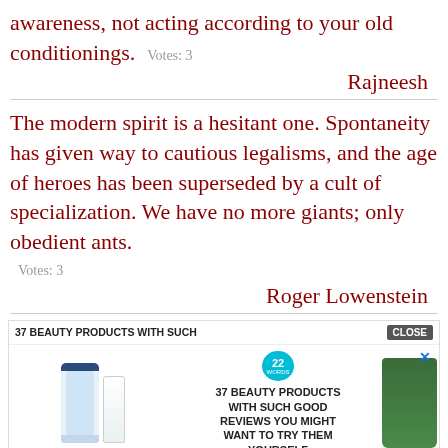awareness, not acting according to your old conditionings.    Votes: 3
Rajneesh
The modern spirit is a hesitant one. Spontaneity has given way to cautious legalisms, and the age of heroes has been superseded by a cult of specialization. We have no more giants; only obedient ants.
Votes: 3
Roger Lowenstein
[Figure (screenshot): Advertisement banner: 37 Beauty Products With Such Good Reviews You Might Want To Try Them Yourself, showing beauty product images and a CLOSE button]
I'm a
.ypool